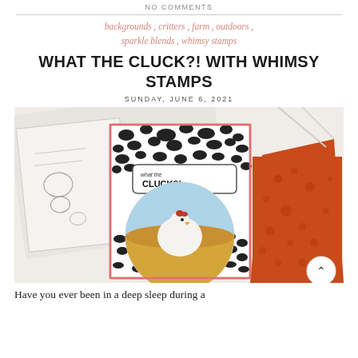NO COMMENTS
backgrounds , critters , farm , outdoors , sparkle blends , whimsy stamps
WHAT THE CLUCK?! WITH WHIMSY STAMPS
SUNDAY, JUNE 6, 2021
[Figure (photo): Handmade greeting card with cow-print background, a circular vignette showing a fluffy white chicken in a hay field with blue sky, and a speech bubble reading 'what the CLUCK?!'. Stamp set and orange embossed card visible in background.]
Have you ever been in a deep sleep during a